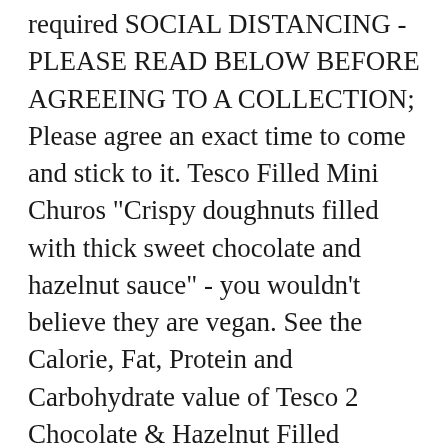required SOCIAL DISTANCING - PLEASE READ BELOW BEFORE AGREEING TO A COLLECTION; Please agree an exact time to come and stick to it. Tesco Filled Mini Churos "Crispy doughnuts filled with thick sweet chocolate and hazelnut sauce" - you wouldn't believe they are vegan. See the Calorie, Fat, Protein and Carbohydrate value of Tesco 2 Chocolate & Hazelnut Filled Doughnuts Topped with Biscuit Crumb here. Eten registreren. Treat yourself with this Spanish street food favourite. Tesco Tesco - Chocolate & Hazelnut Filled Doughnuts. Step 5. No customer reviews - Be the first to leave a review. These Hazelnut Chocolate Filled Baked Donuts are a total excuse to eat delicious